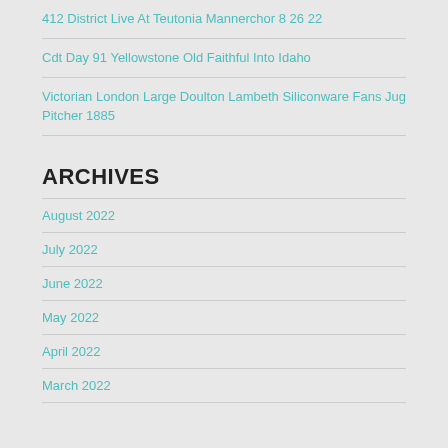412 District Live At Teutonia Mannerchor 8 26 22
Cdt Day 91 Yellowstone Old Faithful Into Idaho
Victorian London Large Doulton Lambeth Siliconware Fans Jug Pitcher 1885
ARCHIVES
August 2022
July 2022
June 2022
May 2022
April 2022
March 2022